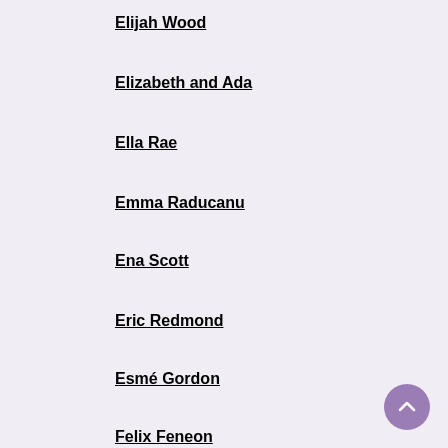Elijah Wood
Elizabeth and Ada
Ella Rae
Emma Raducanu
Ena Scott
Eric Redmond
Esmé Gordon
Felix Feneon
Florence Taylor
Francis Moncrieff